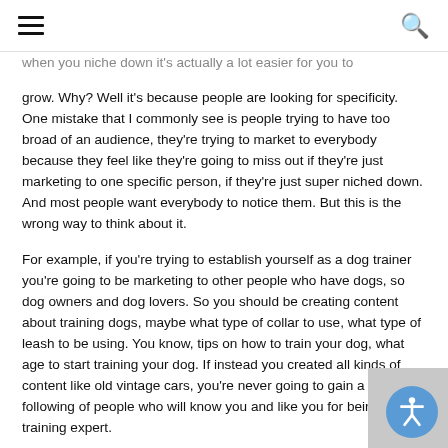≡ [hamburger menu] [search icon]
when you niche down it's actually a lot easier for you to grow. Why? Well it's because people are looking for specificity. One mistake that I commonly see is people trying to have too broad of an audience, they're trying to market to everybody because they feel like they're going to miss out if they're just marketing to one specific person, if they're just super niched down. And most people want everybody to notice them. But this is the wrong way to think about it.
For example, if you're trying to establish yourself as a dog trainer you're going to be marketing to other people who have dogs, so dog owners and dog lovers. So you should be creating content about training dogs, maybe what type of collar to use, what type of leash to be using. You know, tips on how to train your dog, what age to start training your dog. If instead you created all kinds of content like old vintage cars, you're never going to gain a true following of people who will know you and like you for being a dog training expert.